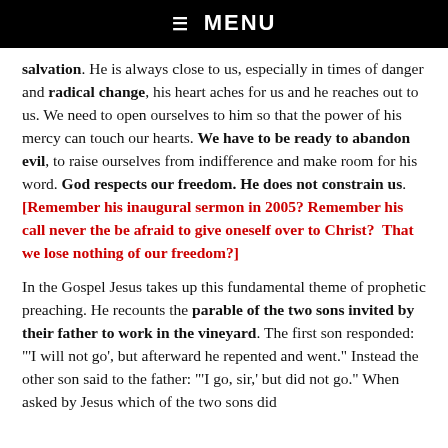☰ MENU
salvation. He is always close to us, especially in times of danger and radical change, his heart aches for us and he reaches out to us. We need to open ourselves to him so that the power of his mercy can touch our hearts. We have to be ready to abandon evil, to raise ourselves from indifference and make room for his word. God respects our freedom. He does not constrain us. [Remember his inaugural sermon in 2005? Remember his call never the be afraid to give oneself over to Christ? That we lose nothing of our freedom?]
In the Gospel Jesus takes up this fundamental theme of prophetic preaching. He recounts the parable of the two sons invited by their father to work in the vineyard. The first son responded: "'I will not go', but afterward he repented and went." Instead the other son said to the father: "'I go, sir,' but did not go." When asked by Jesus which of the two sons did